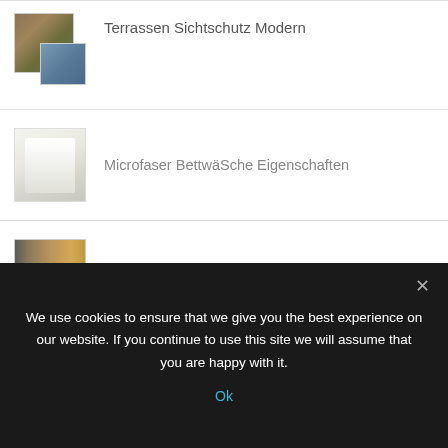Terrassen Sichtschutz Modern
Microfaser BettwäSche Eigenschaften
Massivholzmöbel Leipzig Wahren
Carport Mit Terrassendach
Recent Posts
We use cookies to ensure that we give you the best experience on our website. If you continue to use this site we will assume that you are happy with it.
Ok